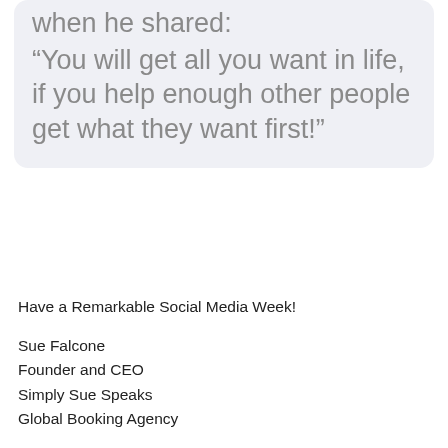when he shared:
“You will get all you want in life, if you help enough other people get what they want first!”
Have a Remarkable Social Media Week!
Sue Falcone
Founder and CEO
Simply Sue Speaks
Global Booking Agency